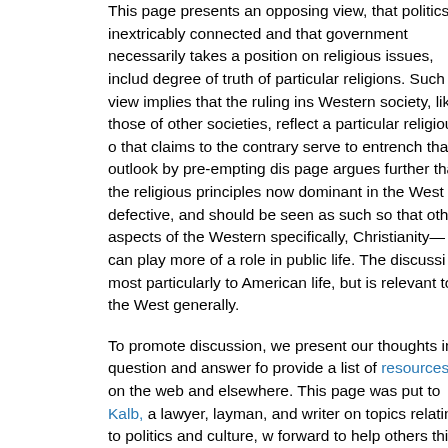This page presents an opposing view, that politics is inextricably connected and that government necessarily takes a position on religious issues, includ degree of truth of particular religions. Such a view implies that the ruling ins Western society, like those of other societies, reflect a particular religious o that claims to the contrary serve to entrench that outlook by pre-empting dis page argues further that the religious principles now dominant in the West a defective, and should be seen as such so that other aspects of the Western specifically, Christianity—can play more of a role in public life. The discussi most particularly to American life, but is relevant to the West generally.
To promote discussion, we present our thoughts in question and answer fo provide a list of resources on the web and elsewhere. This page was put to Kalb, a lawyer, layman, and writer on topics relating to politics and culture, w forward to help others think through the issues.
The issues presented here can be discussed in our forum. Your participatio You can also email the author, Jim Kalb, or add a comment at the foot of thi
Questions
What is an "establishment of religion?"
But can belief be forced?
Surely a believer wouldn't give the state authority in religious matters!